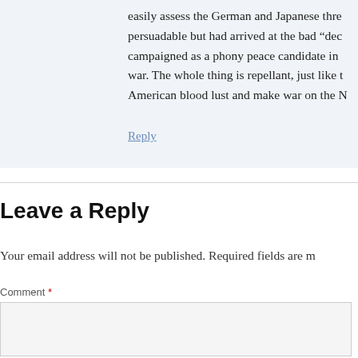easily assess the German and Japanese thre persuadable but had arrived at the bad “dec campaigned as a phony peace candidate in war. The whole thing is repellant, just like t American blood lust and make war on the N
Reply
Leave a Reply
Your email address will not be published. Required fields are m
Comment *